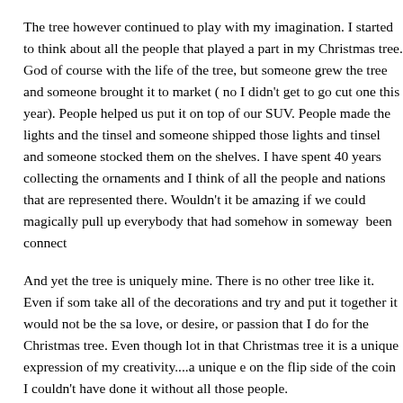The tree however continued to play with my imagination. I started to think about all the people that played a part in my Christmas tree. God of course with the life of the tree, but someone grew the tree and someone brought it to market ( no I didn't get to go cut one this year). People helped us put it on top of our SUV. People made the lights and the tinsel and someone shipped those lights and tinsel and someone stocked them on the shelves. I have spent 40 years collecting the ornaments and I think of all the people and nations that are represented there. Wouldn't it be amazing if we could magically pull up everybody that had somehow in someway  been connected to this tree.
And yet the tree is uniquely mine. There is no other tree like it. Even if someone were to take all of the decorations and try and put it together it would not be the same. No one has the love, or desire, or passion that I do for the Christmas tree. Even though lots of people played a part in that Christmas tree it is a unique expression of my creativity....a unique expression of me. But on the flip side of the coin I couldn't have done it without all those people.
That made me think about my life. I am like the tree. God created my life, my parents and many people fed me and pruned me and "grew" me. Thousands upon thousands of people have touched my life in one way or another and yet I am unique...I am me. But the me that I am is a result of the people who have played a part in my life.
Now there's a thought! Everyday people do ordinary things like stocking lights and tinsel, or pruning trees and they do not realize they are part of a finished work...a Christmas tree. The same can be said for all that we do in our "ordinary" lives.  We t